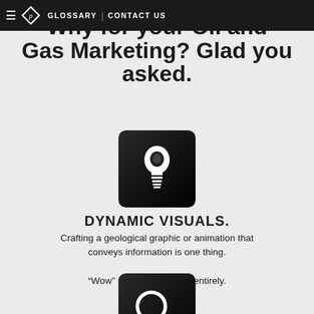Why ☰ [logo] GLOSSARY | CONTACT US for your Oil and Gas Marketing? Glad you asked.
Why for your Oil and Gas Marketing? Glad you asked.
[Figure (illustration): Black rounded-square icon with a white lightbulb silhouette]
DYNAMIC VISUALS.
Crafting a geological graphic or animation that conveys information is one thing.

“Wow” is something else entirely.
[Figure (illustration): Black rounded-square icon with a white magnifying glass silhouette]